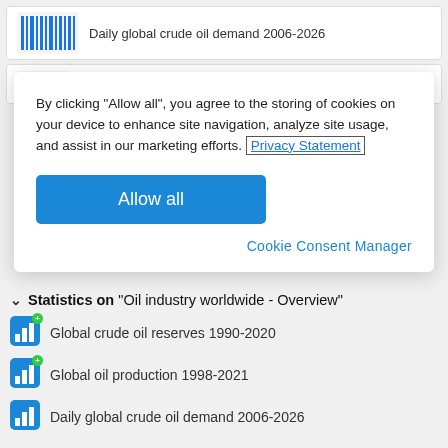[Figure (screenshot): Top card showing barcode-style bar chart icon and title 'Daily global crude oil demand 2006-2026']
[Figure (screenshot): Second card showing partial pie chart icon]
By clicking “Allow all”, you agree to the storing of cookies on your device to enhance site navigation, analyze site usage, and assist in our marketing efforts. Privacy Statement
Allow all
Cookie Consent Manager
Statistics on "Oil industry worldwide - Overview"
Global crude oil reserves 1990-2020
Global oil production 1998-2021
Daily global crude oil demand 2006-2026